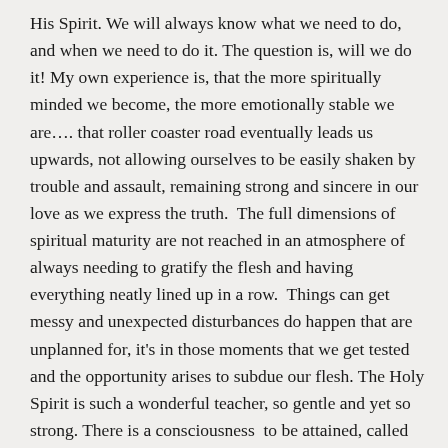His Spirit. We will always know what we need to do, and when we need to do it. The question is, will we do it! My own experience is, that the more spiritually minded we become, the more emotionally stable we are…. that roller coaster road eventually leads us upwards, not allowing ourselves to be easily shaken by trouble and assault, remaining strong and sincere in our love as we express the truth.  The full dimensions of spiritual maturity are not reached in an atmosphere of always needing to gratify the flesh and having everything neatly lined up in a row.  Things can get messy and unexpected disturbances do happen that are unplanned for, it's in those moments that we get tested and the opportunity arises to subdue our flesh. The Holy Spirit is such a wonderful teacher, so gentle and yet so strong. There is a consciousness  to be attained, called the Mind of Christ, emptying ourselves, and taking the form of a servant.